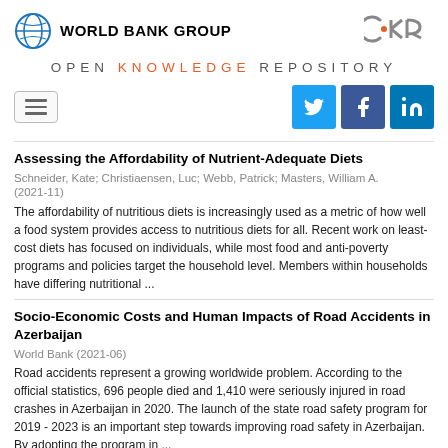[Figure (logo): World Bank Group logo with globe icon and text]
[Figure (logo): OKR (Open Knowledge Repository) logo]
OPEN KNOWLEDGE REPOSITORY
[Figure (other): Hamburger menu icon and social media icons: Twitter, Facebook, LinkedIn]
Assessing the Affordability of Nutrient-Adequate Diets
Schneider, Kate; Christiaensen, Luc; Webb, Patrick; Masters, William A. (2021-11)
The affordability of nutritious diets is increasingly used as a metric of how well a food system provides access to nutritious diets for all. Recent work on least-cost diets has focused on individuals, while most food and anti-poverty programs and policies target the household level. Members within households have differing nutritional ...
Socio-Economic Costs and Human Impacts of Road Accidents in Azerbaijan
World Bank (2021-06)
Road accidents represent a growing worldwide problem. According to the official statistics, 696 people died and 1,410 were seriously injured in road crashes in Azerbaijan in 2020. The launch of the state road safety program for 2019 - 2023 is an important step towards improving road safety in Azerbaijan. By adopting the program in ...